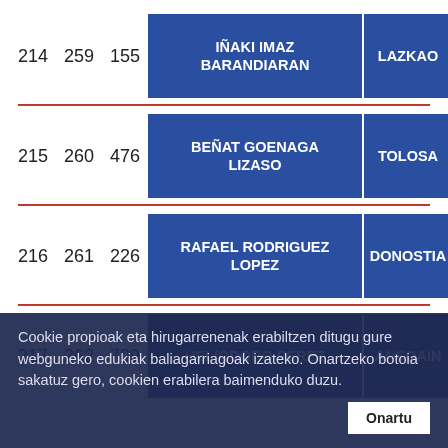| #1 | #2 | #3 | Name | City |
| --- | --- | --- | --- | --- |
| 214 | 259 | 155 | IÑAKI IMAZ BARANDIARAN | LAZKAO |
| 215 | 260 | 476 | BEÑAT GOENAGA LIZASO | TOLOSA |
| 216 | 261 | 226 | RAFAEL RODRIGUEZ LOPEZ | DONOSTIA |
| 217 | 262 | 709 | HELIODORO PEREZ | ANSOAIN |
Cookie propioak eta hirugarrenenak erabiltzen ditugu gure webguneko edukiak baliagarriagoak izateko. Onartzeko botoia sakatuz gero, cookien erabilera baimenduko duzu.